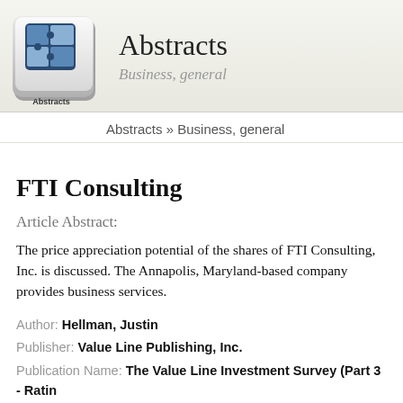[Figure (logo): Abstracts puzzle-piece logo icon on a keyboard key background]
Abstracts
Business, general
Abstracts » Business, general
FTI Consulting
Article Abstract:
The price appreciation potential of the shares of FTI Consulting, Inc. is discussed. The Annapolis, Maryland-based company provides business services.
Author: Hellman, Justin
Publisher: Value Line Publishing, Inc.
Publication Name: The Value Line Investment Survey (Part 3 - Ratin…
Subject: Business, general
ISSN: 0042-2401